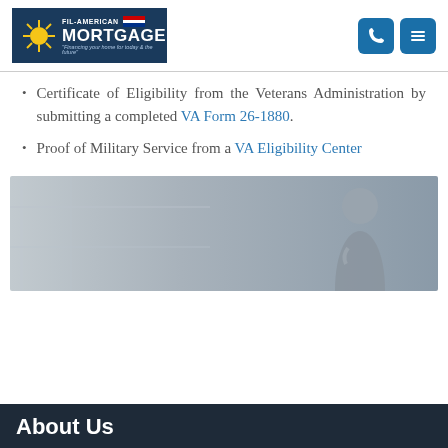[Figure (logo): Fil-American Mortgage logo with sun emblem and Philippine flag colors]
Certificate of Eligibility from the Veterans Administration by submitting a completed VA Form 26-1880.
Proof of Military Service from a VA Eligibility Center
[Figure (photo): Woman looking out a window, muted gray tones]
About Us